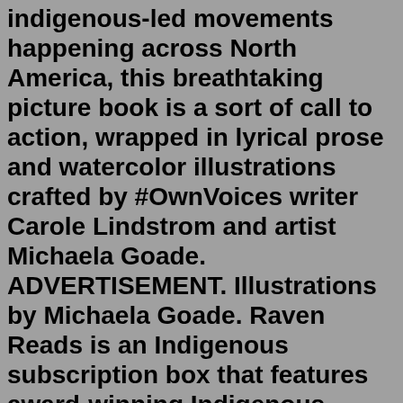indigenous-led movements happening across North America, this breathtaking picture book is a sort of call to action, wrapped in lyrical prose and watercolor illustrations crafted by #OwnVoices writer Carole Lindstrom and artist Michaela Goade. ADVERTISEMENT. Illustrations by Michaela Goade. Raven Reads is an Indigenous subscription box that features award-winning Indigenous content and literature direct to your door step every three months. Each season we work with Indigenous authors and entrepreneurs to curate unique, new releases that amplify Indigenous cultures across North America.Oct 19, 2020 · 15 Books by Indigenous Authors for the Classroom. Authentic stories from past and present. Too often in our classrooms, Native stories are only presented from historical perspectives. When the only books kids read about indigenous people take place long ago, students may think these communities don't exist in contemporary society. Grow Native! is the native plant marketing and education program of the Missouri Prairie